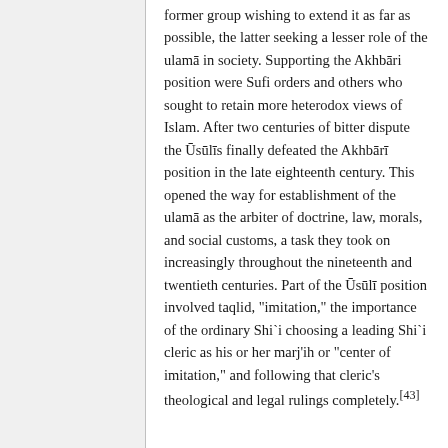former group wishing to extend it as far as possible, the latter seeking a lesser role of the ulamā in society. Supporting the Akhbāri position were Sufi orders and others who sought to retain more heterodox views of Islam. After two centuries of bitter dispute the Ūsūlīs finally defeated the Akhbārī position in the late eighteenth century. This opened the way for establishment of the ulamā as the arbiter of doctrine, law, morals, and social customs, a task they took on increasingly throughout the nineteenth and twentieth centuries. Part of the Ūsūlī position involved taqlid, "imitation," the importance of the ordinary Shi`i choosing a leading Shi`i cleric as his or her marj'ih or "center of imitation," and following that cleric's theological and legal rulings completely.[43]